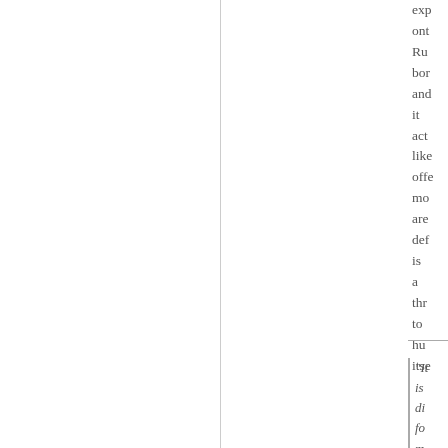exp ont Ru bor and it act like offe mo are def is a thr to hu itse
"It is di fo m to